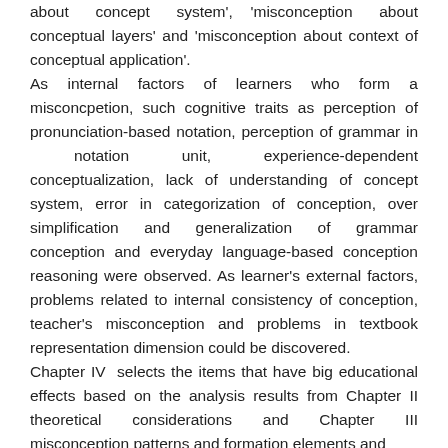about concept system', 'misconception about conceptual layers' and 'misconception about context of conceptual application'.
As internal factors of learners who form a misconcpetion, such cognitive traits as perception of pronunciation-based notation, perception of grammar in notation unit, experience-dependent conceptualization, lack of understanding of concept system, error in categorization of conception, over simplification and generalization of grammar conception and everyday language-based conception reasoning were observed. As learner's external factors, problems related to internal consistency of conception, teacher's misconception and problems in textbook representation dimension could be discovered.
Chapter IV selects the items that have big educational effects based on the analysis results from Chapter II theoretical considerations and Chapter III misconception patterns and formation elements and